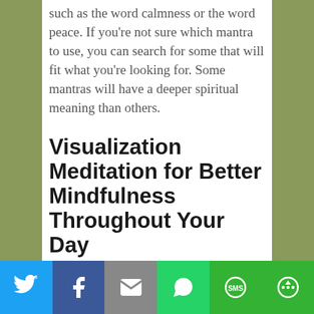such as the word calmness or the word peace. If you're not sure which mantra to use, you can search for some that will fit what you're looking for. Some mantras will have a deeper spiritual meaning than others.
Visualization Meditation for Better Mindfulness Throughout Your Day
[Figure (photo): A partially visible photograph showing a person sitting outdoors near a wall and building structure.]